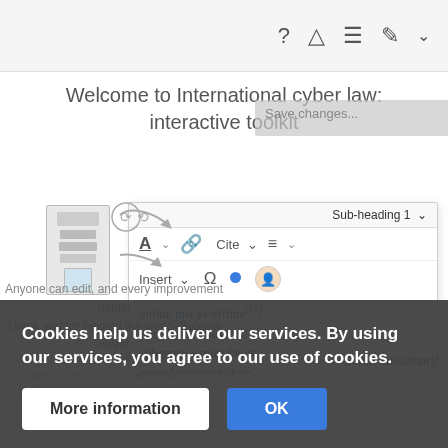[Figure (screenshot): Wikipedia editor interface screenshot showing toolbar with icons (question mark, warning triangle, hamburger menu, pencil, chevron), a save changes overlay, sub-heading 1 dropdown, document icon with arrows, text formatting icons (A, link, Cite, list), Insert and Omega symbols, and article text about cyber law]
Welcome to International cyber law: interactive toolkit
Anyone can edit, and every improvement helps. Thank you for helping the world discover more!
online just as offline [17]
States' activities in cyberspace must be in accordance with their international human rights
Cookies help us deliver our services. By using our services, you agree to our use of cookies.
More information
OK